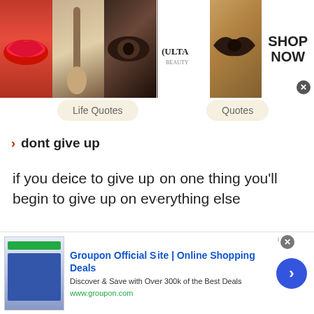[Figure (screenshot): Ulta Beauty advertisement banner with makeup images, logo, and SHOP NOW button]
Life Quotes
Quotes
dont give up
if you deice to give up on one thing you'll begin to give up on everything else
READ MORE
SHARE
[Figure (screenshot): Groupon Official Site advertisement banner with thumbnail, title, description, and arrow button]